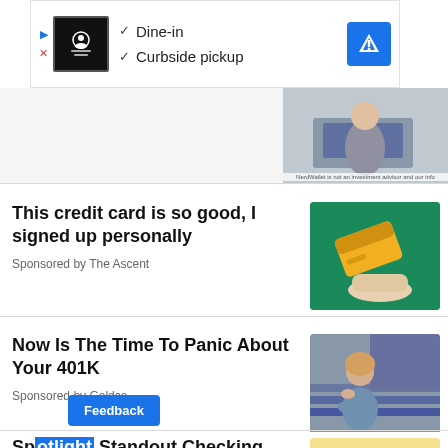[Figure (screenshot): Ad banner: restaurant with Dine-in and Curbside pickup checkmarks, Google Maps icon]
[Figure (photo): Partial image of person at desk, NerdWallet disclaimer text at bottom]
This credit card is so good, I signed up personally
Sponsored by The Ascent
[Figure (photo): Yellow credit card floating over a hand against green background]
Now Is The Time To Panic About Your 401K
Sponsored by Goldco
[Figure (photo): Woman sitting on stairs looking worried, resting chin on hand]
Sp... a Standout Checking Ac... mpare Now.
[Figure (photo): Green money/dollar bills illustration on yellow background]
Feedback